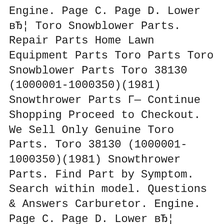Engine. Page C. Page D. Lower вЂ¦ Toro Snowblower Parts. Repair Parts Home Lawn Equipment Parts Toro Parts Toro Snowblower Parts Toro 38130 (1000001-1000350)(1981) Snowthrower Parts Г— Continue Shopping Proceed to Checkout. We Sell Only Genuine Toro Parts. Toro 38130 (1000001-1000350)(1981) Snowthrower Parts. Find Part by Symptom. Search within model. Questions & Answers Carburetor. Engine. Page C. Page D. Lower вЂ¦
Snow Blowers Yard Tools Sprinklers/Funny Pipe Lower Main Frame Assembly (model 38120 & 38130) Magneto No. 610772a (engine Model Ah520 Type 1583 Unit Model 38130)